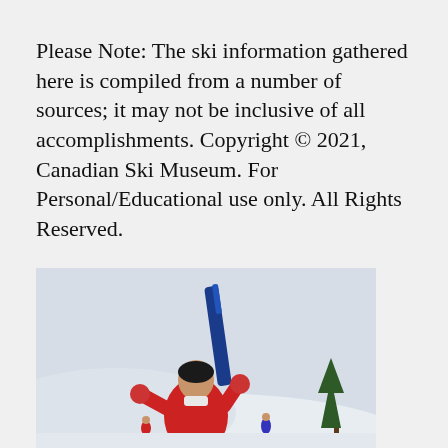Please Note: The ski information gathered here is compiled from a number of sources; it may not be inclusive of all accomplishments. Copyright © 2021, Canadian Ski Museum. For Personal/Educational use only. All Rights Reserved.
[Figure (photo): A person wearing a red jacket holding skis upright in a snowy outdoor setting, appearing to celebrate at a ski event.]